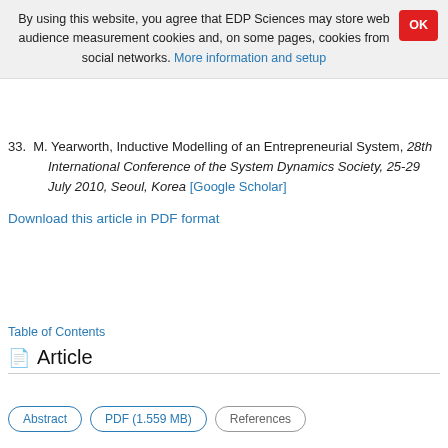By using this website, you agree that EDP Sciences may store web audience measurement cookies and, on some pages, cookies from social networks. More information and setup
33. M. Yearworth, Inductive Modelling of an Entrepreneurial System, 28th International Conference of the System Dynamics Society, 25-29 July 2010, Seoul, Korea [Google Scholar]
Download this article in PDF format
Table of Contents
Article
Abstract  PDF (1.559 MB)  References